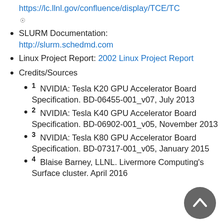TCE/TOSS 3: https://lc.llnl.gov/confluence/display/TCE/TC (external link icon)
SLURM Documentation: http://slurm.schedmd.com
Linux Project Report: 2002 Linux Project Report
Credits/Sources
1 NVIDIA: Tesla K20 GPU Accelerator Board Specification. BD-06455-001_v07, July 2013
2 NVIDIA: Tesla K40 GPU Accelerator Board Specification. BD-06902-001_v05, November 2013
3 NVIDIA: Tesla K80 GPU Accelerator Board Specification. BD-07317-001_v05, January 2015
4 Blaise Barney, LLNL. Livermore Computing's Surface cluster. April 2016